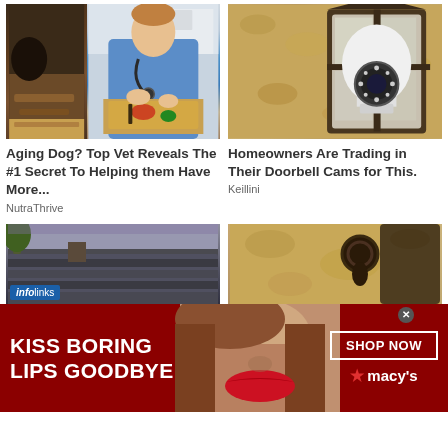[Figure (photo): Left article card: photo of a black dog on wooden floor (left strip) and a doctor/vet in blue shirt with stethoscope chopping vegetables on cutting board]
Aging Dog? Top Vet Reveals The #1 Secret To Helping them Have More...
NutraThrive
[Figure (photo): Right article card: photo of a security camera disguised as a light bulb mounted in an outdoor wall lantern fixture on a textured tan wall]
Homeowners Are Trading in Their Doorbell Cams for This.
Keillini
[Figure (photo): Bottom left partial card: rooftop/house roof photo with infolinks badge overlay]
[Figure (photo): Bottom right partial card: textured wall with door knocker]
[Figure (photo): Macy's advertisement banner: KISS BORING LIPS GOODBYE with woman with red lips, SHOP NOW button and Macy's star logo]